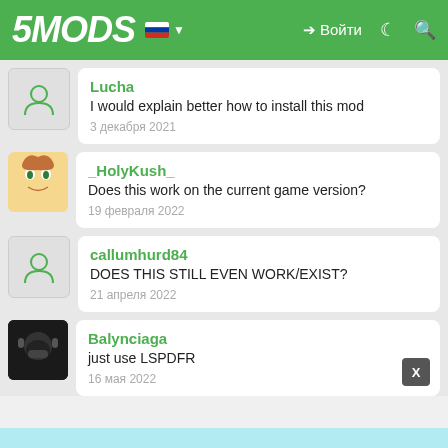5MODS | Войти
Lucha
I would explain better how to install this mod
3 декабря 2021
_HolyKush_
Does this work on the current game version?
19 февраля 2022
callumhurd84
DOES THIS STILL EVEN WORK/EXIST?
21 апреля 2022
Balynciaga
just use LSPDFR
16 мая 2022